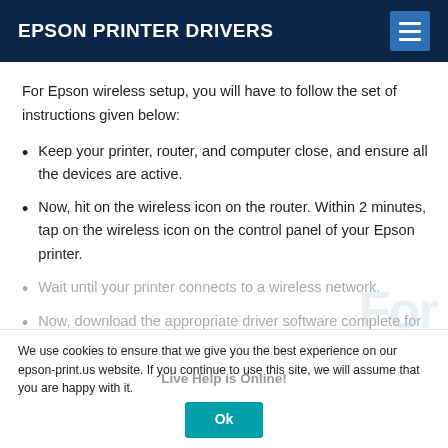EPSON PRINTER DRIVERS
For Epson wireless setup, you will have to follow the set of instructions given below:
Keep your printer, router, and computer close, and ensure all the devices are active.
Now, hit on the wireless icon on the router. Within 2 minutes, tap on the wireless icon on the control panel of your Epson printer.
Wait until your printer connects to a wireless network.
Now, download the appropriate driver software complete for wireless setup.
We use cookies to ensure that we give you the best experience on our epson-print.us website. If you continue to use this site, we will assume that you are happy with it.